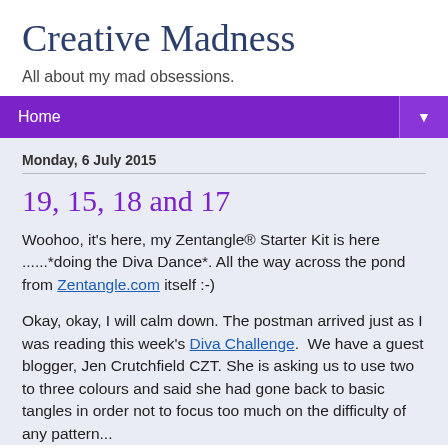Creative Madness
All about my mad obsessions.
Home ▼
Monday, 6 July 2015
19, 15, 18 and 17
Woohoo, it's here, my Zentangle® Starter Kit is here ......*doing the Diva Dance*. All the way across the pond from Zentangle.com itself :-)
Okay, okay, I will calm down. The postman arrived just as I was reading this week's Diva Challenge.  We have a guest blogger, Jen Crutchfield CZT. She is asking us to use two to three colours and said she had gone back to basic tangles in order not to focus too much on the difficulty of any pattern...